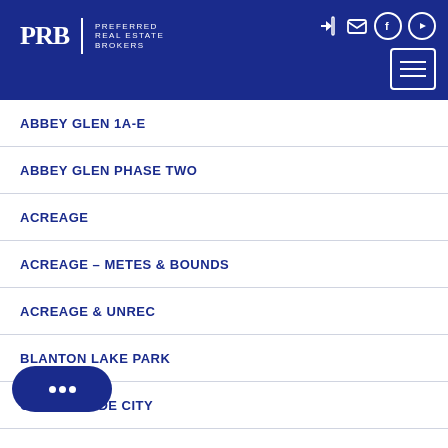[Figure (logo): PRB Preferred Real Estate Brokers logo with navigation icons and hamburger menu on dark blue header]
ABBEY GLEN 1A-E
ABBEY GLEN PHASE TWO
ACREAGE
ACREAGE – METES & BOUNDS
ACREAGE & UNREC
BLANTON LAKE PARK
CITY OF DADE CITY
... NEW SUB